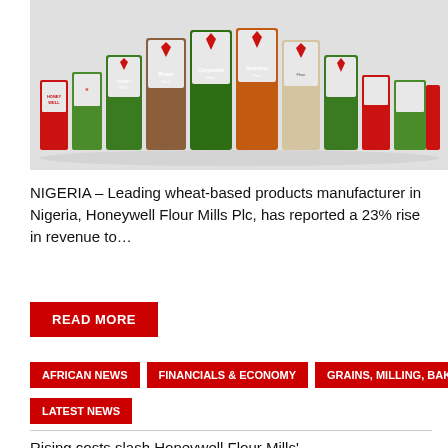[Figure (photo): Product lineup of Honeywell Flour Mills branded bags and food packages arranged in a row on a light grey background, showing various flour and food products with the Honeywell logo in red and green.]
NIGERIA – Leading wheat-based products manufacturer in Nigeria, Honeywell Flour Mills Plc, has reported a 23% rise in revenue to…
READ MORE
AFRICAN NEWS
Financials & Economy
Grains, Milling, Baking & Feed
LATEST NEWS
Rising costs slash Honeywell Flour Mills'